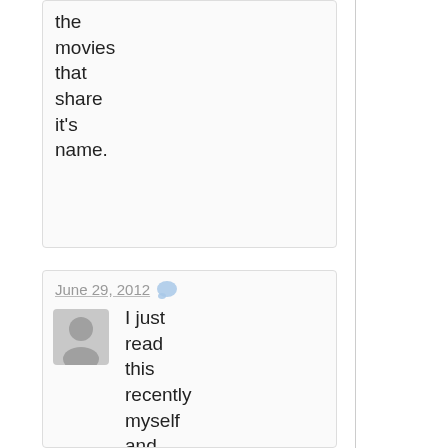the movies that share it's name.
June 29, 2012
I just read this recently myself and was blown away; my only gripe, having read Death Senten